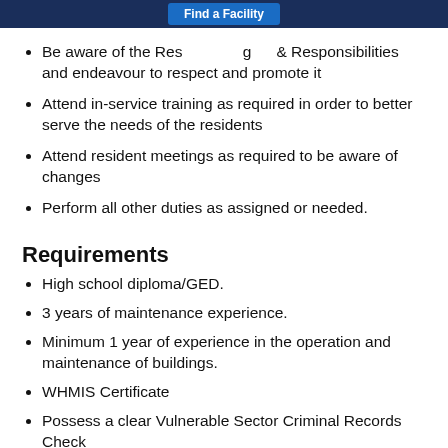Find a Facility
Be aware of the Responsibilities & Responsibilities and endeavour to respect and promote it
Attend in-service training as required in order to better serve the needs of the residents
Attend resident meetings as required to be aware of changes
Perform all other duties as assigned or needed.
Requirements
High school diploma/GED.
3 years of maintenance experience.
Minimum 1 year of experience in the operation and maintenance of buildings.
WHMIS Certificate
Possess a clear Vulnerable Sector Criminal Records Check
Hold a valid Drivers License
Ability to perform small repairs (e.g. dry walling and painting, caulking, replacing washers, and replacing light